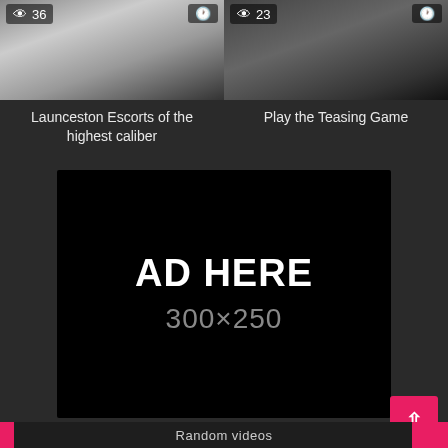[Figure (screenshot): Video thumbnail showing figure in black outfit, views: 36, rating: 0%]
0%
Launceston Escorts of the highest caliber
[Figure (screenshot): Video thumbnail showing figure in dark outfit, views: 23, rating: 0%]
0%
Play the Teasing Game
[Figure (other): Advertisement placeholder box, black background, text: AD HERE 300x250]
Random videos